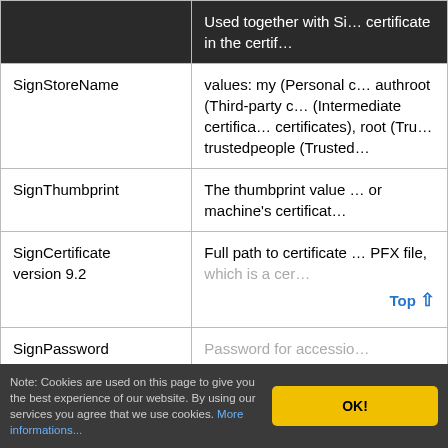| Parameter | Description |
| --- | --- |
|  | Used together with Si… certificate in the certif… |
| SignStoreName | values: my (Personal c… authroot (Third-party c… (Intermediate certifica… certificates), root (Tru… trustedpeople (Trusted… |
| SignThumbprint | The thumbprint value … or machine's certificat… |
| SignCertificate version 9.2 | Full path to certificate … PFX file, which is a cer… |
| SignPassword version 9.2 | Password for accessio… |
| SignReason | Optional reason for si… |
Note: Cookies are used on this page to give you the best experience of our website. By using our services you agree that we use cookies. More informations...